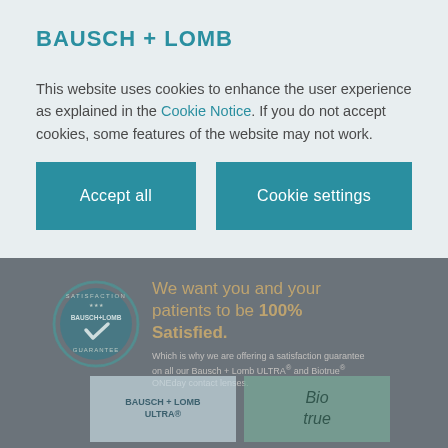BAUSCH + LOMB
This website uses cookies to enhance the user experience as explained in the Cookie Notice. If you do not accept cookies, some features of the website may not work.
Accept all
Cookie settings
[Figure (logo): Bausch + Lomb satisfaction guarantee badge/seal (circular) partially visible in dimmed background section]
We want you and your patients to be 100% Satisfied.
Which is why we are offering a satisfaction guarantee on all our Bausch + Lomb ULTRA® and Biotrue® ONEday contact lenses.
[Figure (photo): Two product boxes visible at bottom: Bausch + Lomb ULTRA and Biotrue ONEday contact lenses, partially cropped]